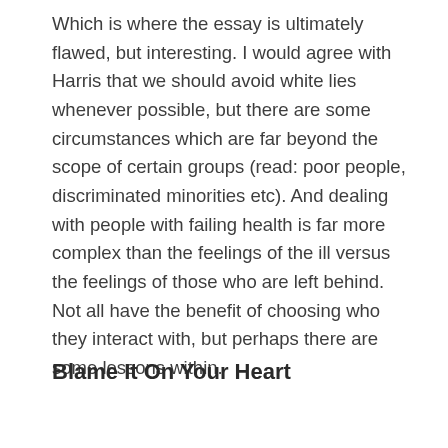Which is where the essay is ultimately flawed, but interesting. I would agree with Harris that we should avoid white lies whenever possible, but there are some circumstances which are far beyond the scope of certain groups (read: poor people, discriminated minorities etc). And dealing with people with failing health is far more complex than the feelings of the ill versus the feelings of those who are left behind. Not all have the benefit of choosing who they interact with, but perhaps there are some lessons within.
Blame It On Your Heart